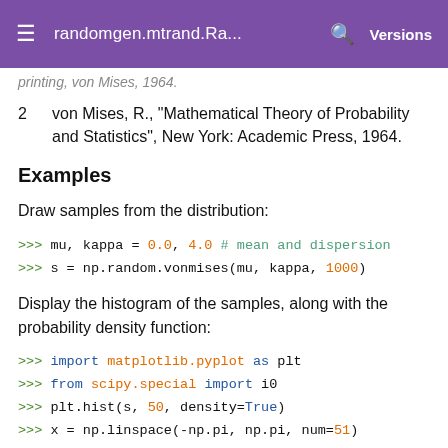randomgen.mtrand.Ra... Versions
printing, von Mises, 1964.
2   von Mises, R., "Mathematical Theory of Probability and Statistics", New York: Academic Press, 1964.
Examples
Draw samples from the distribution:
>>> mu, kappa = 0.0, 4.0 # mean and dispersion
>>> s = np.random.vonmises(mu, kappa, 1000)
Display the histogram of the samples, along with the probability density function:
>>> import matplotlib.pyplot as plt
>>> from scipy.special import i0
>>> plt.hist(s, 50, density=True)
>>> x = np.linspace(-np.pi, np.pi, num=51)